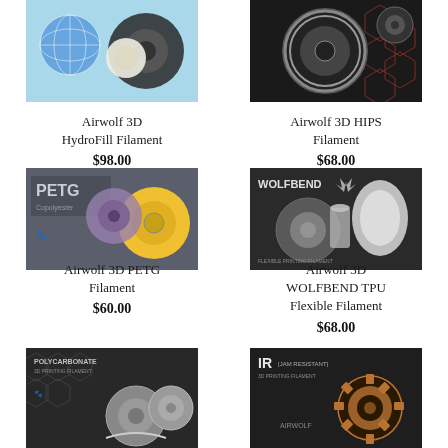[Figure (photo): Airwolf 3D HydroFill Filament product spool image on light blue background]
Airwolf 3D HydroFill Filament
$98.00
[Figure (photo): Airwolf 3D HIPS Filament product spool image on dark hexagon patterned background]
Airwolf 3D HIPS Filament
$68.00
[Figure (photo): Airwolf 3D PETG Filament product spool image on gray background with PETG label]
Airwolf 3D PETG Filament
$60.00
[Figure (photo): Airwolf 3D WOLFBEND TPU Flexible Filament product image on dark background]
Airwolf 3D WOLFBEND TPU Flexible Filament
$68.00
[Figure (photo): Polycarbonate 3D printing filament product image on dark hexagon background]
[Figure (photo): IR (Jam Resistant) filament product image on dark background with copper gear]